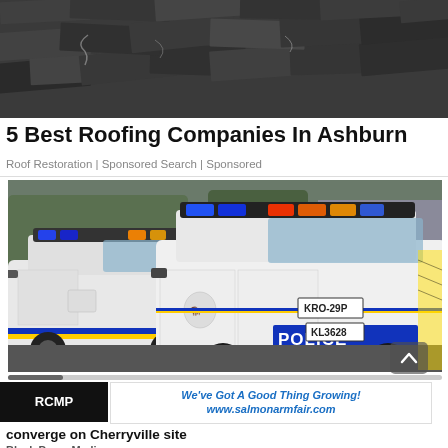[Figure (photo): Close-up photo of damaged/worn roofing shingles, cracked and broken asphalt tiles]
5 Best Roofing Companies In Ashburn
Roof Restoration | Sponsored Search | Sponsored
[Figure (photo): Two white RCMP police SUVs with flashing blue and red/amber lights, license plates KRO-29P and KL3628, on a street near a building]
[Figure (other): Advertisement banner: We've Got A Good Thing Growing! www.salmonarmfair.com]
RCMP converge on Cherryville site
Black Press Media